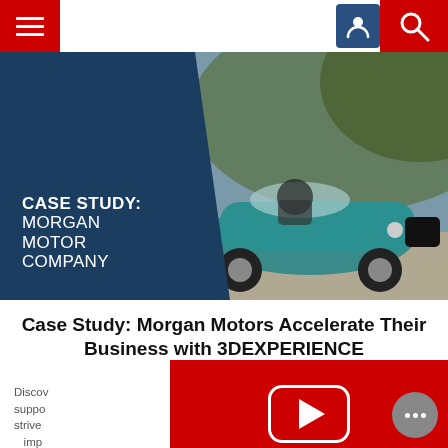[Figure (screenshot): Website screenshot of a case study page for Morgan Motor Company using 3DEXPERIENCE, showing navigation bar with hamburger menu and search icon, a hero banner with a teal Morgan sports car on a road, blue overlay with case study title text, article headline, partial body text, and a red YouTube CTA overlay with play button.]
Case Study: Morgan Motors Accelerate Their Business with 3DEXPERIENCE
Discover how 3DEXPERIENCE supports companies that strive to continuously improve...
WANT TO SEE MORE CUSTOMER STORIES
Visit our YouTube channel